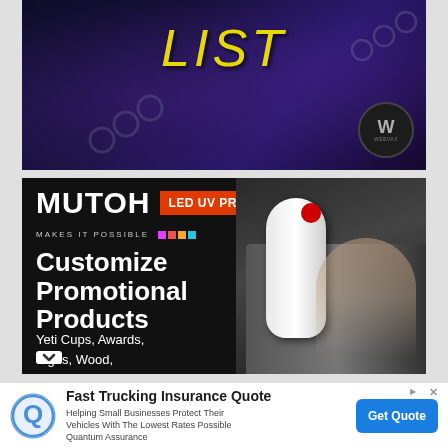[Figure (screenshot): Top banner ad showing 'LIST' text in yellow italic font on dark fantasy background with chains and armored figure, WEBVAX logo in bottom right corner]
[Figure (screenshot): MUTOH LED UV PRINTERS advertisement with dark background. Shows MUTOH logo, 'MAKES IT POSSIBLE' tagline with color dots, 'Customize Promotional Products' headline and 'Yeti Cups, Awards, Signs, Wood, Ornaments, Phone Cases,' text on left, product image of large format printer on right]
[Figure (screenshot): Fast Trucking Insurance Quote ad with blue Q logo, text 'Helping Small Business Protect Their Vehicles With The Lowest Rates Possible Quantum Assurance' and blue 'Get Quote' button]